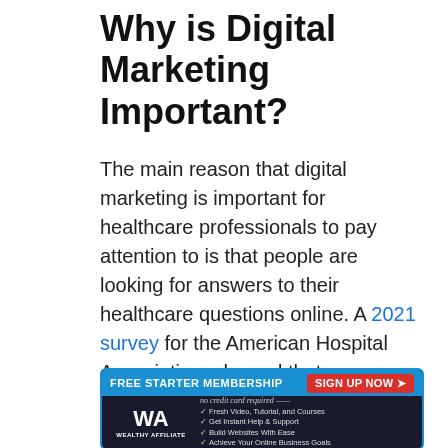Why is Digital Marketing Important?
The main reason that digital marketing is important for healthcare professionals to pay attention to is that people are looking for answers to their healthcare questions online. A 2021 survey for the American Hospital Association, showed that:
[Figure (infographic): Wealthy Affiliate advertisement banner with blue header reading 'FREE STARTER MEMBERSHIP' and red 'SIGN UP NOW' button, WA logo on dark background with bullet points: Fresh Video, Tutorial, and Courses; Get Instant Help & Support; Build Websites With Ease; Achieve Your Online Business Goals]